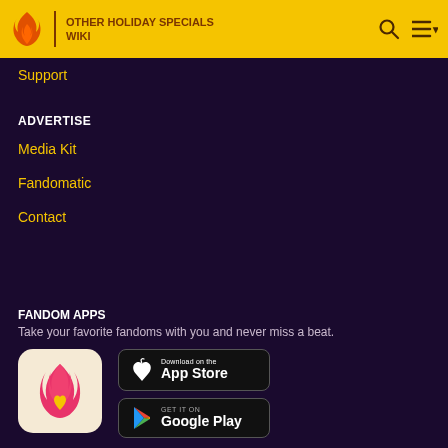OTHER HOLIDAY SPECIALS WIKI
Support
ADVERTISE
Media Kit
Fandomatic
Contact
FANDOM APPS
Take your favorite fandoms with you and never miss a beat.
[Figure (logo): Fandom app icon with pink flame and yellow heart on cream background]
[Figure (screenshot): Download on the App Store button]
[Figure (screenshot): Get it on Google Play button]